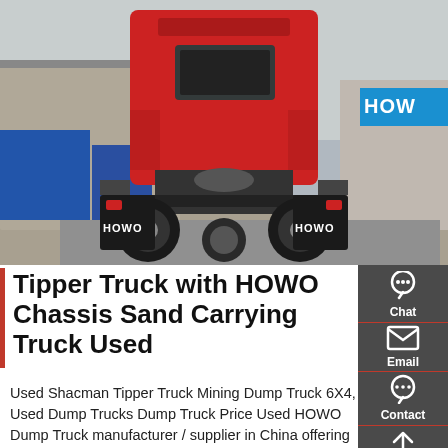[Figure (photo): Rear view of a red HOWO semi-truck/tractor unit parked in a yard. The truck shows 'HOWO' branding on mud flaps. Blue shipping containers and other trucks visible in background. Overcast sky.]
Tipper Truck with HOWO Chassis Sand Carrying Truck Used
Used Shacman Tipper Truck Mining Dump Truck 6X4, Used Dump Trucks Dump Truck Price Used HOWO Dump Truck manufacturer / supplier in China offering China Shacman JAC Beiben Foton FAW Sinotruck HOWO 4X2 336HP 6X4 371HP 8X4 Brand New or